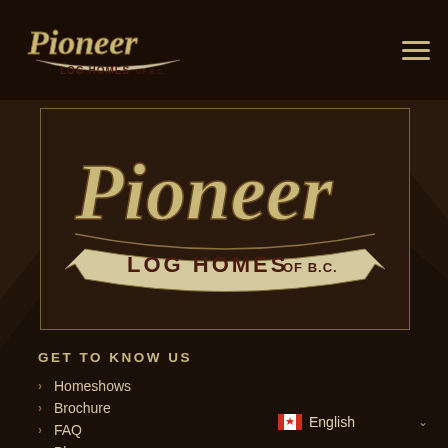[Figure (logo): Pioneer Log Homes of B.C. logo in header navigation bar with hamburger menu icon]
[Figure (logo): Pioneer Log Homes of B.C. large central logo with cursive Pioneer text and banner reading LOG HOMES OF B.C. inside a bordered rectangle]
GET TO KNOW US
Homeshows
Brochure
FAQ
Blog
Press release & Articles
English